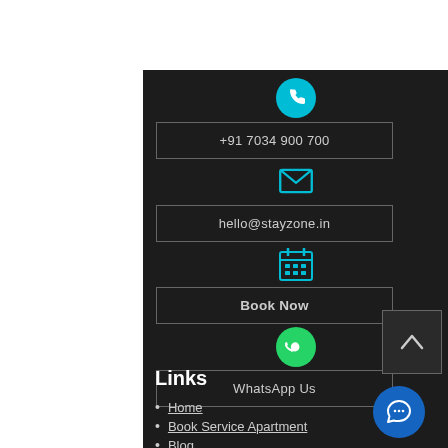[Figure (other): Phone icon circle (teal background)]
+91 7034 900 700
[Figure (other): Email icon (teal outline envelope)]
hello@stayzone.in
[Figure (other): Calendar icon (teal)]
Book Now
[Figure (other): WhatsApp icon circle (green background)]
WhatsApp Us
Links
Home
Book Service Apartment
Blog
[Figure (other): Scroll to top button (dark square with up arrow)]
[Figure (other): Chat bubble button (blue circle with chat icon)]